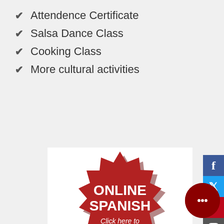Attendence Certificate
Salsa Dance Class
Cooking Class
More cultural activities
[Figure (illustration): Red starburst badge with white text reading ONLINE SPANISH Click here to ENROLL NOW!!!]
[Figure (illustration): Dark red circular chat bubble icon with three white dots]